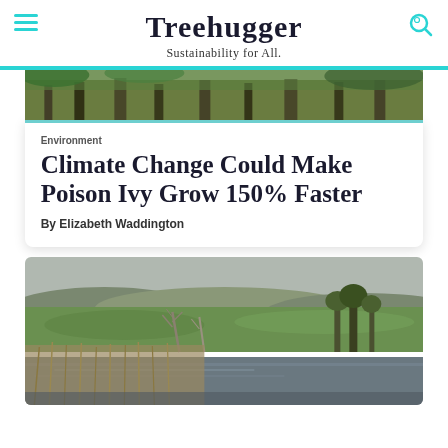Treehugger
Sustainability for All.
[Figure (photo): Top portion of a forest/woodland photo with green foliage and tree trunks]
Environment
Climate Change Could Make Poison Ivy Grow 150% Faster
By Elizabeth Waddington
[Figure (photo): Landscape photo showing green fields, a river or wetland in the foreground with reeds, bare trees, and rolling hills in the background under an overcast sky]